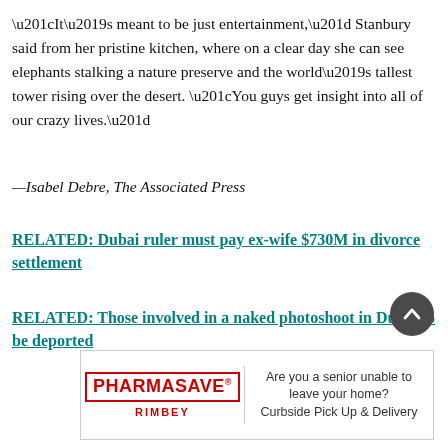“It’s meant to be just entertainment,” Stanbury said from her pristine kitchen, where on a clear day she can see elephants stalking a nature preserve and the world’s tallest tower rising over the desert. “You guys get insight into all of our crazy lives.”
—Isabel Debre, The Associated Press
RELATED: Dubai ruler must pay ex-wife $730M in divorce settlement
RELATED: Those involved in a naked photoshoot in Dubai to be deported
[Figure (other): Scroll-to-top button: dark grey circular button with upward chevron arrow]
[Figure (other): Pharmasave Rimbey advertisement banner. Left side: PHARMASAVE logo in red with registered trademark, RIMBEY in red below. Right side: text 'Are you a senior unable to leave your home? Curbside Pick Up & Delivery']